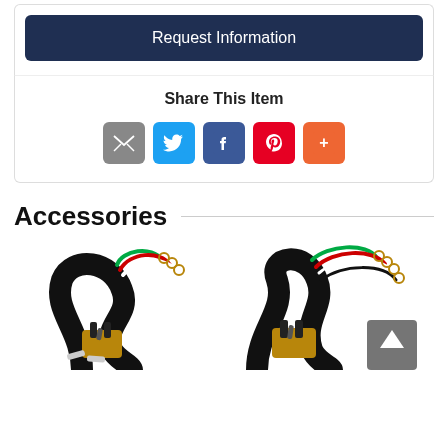Request Information
Share This Item
[Figure (infographic): Share icons: email (grey), Twitter (blue), Facebook (dark blue), Pinterest (red), More (orange)]
Accessories
[Figure (photo): Black power cord/cable with multiple colored wires and a plug, with small hardware pieces]
[Figure (photo): Black power cord/cable with multiple colored wires and a plug, with small hardware pieces — second variant]